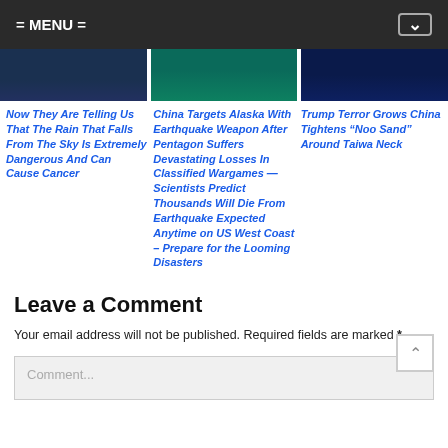= MENU =
[Figure (screenshot): Three thumbnail images in a row: dark blue sky image on left, underwater/teal image in center, dark blue image on right.]
Now They Are Telling Us That The Rain That Falls From The Sky Is Extremely Dangerous And Can Cause Cancer
China Targets Alaska With Earthquake Weapon After Pentagon Suffers Devastating Losses In Classified Wargames — Scientists Predict Thousands Will Die From Earthquake Expected Anytime on US West Coast – Prepare for the Looming Disasters
Trump Terror Grows China Tightens “Noo Sand” Around Taiwa Neck
Leave a Comment
Your email address will not be published. Required fields are marked *
Comment...